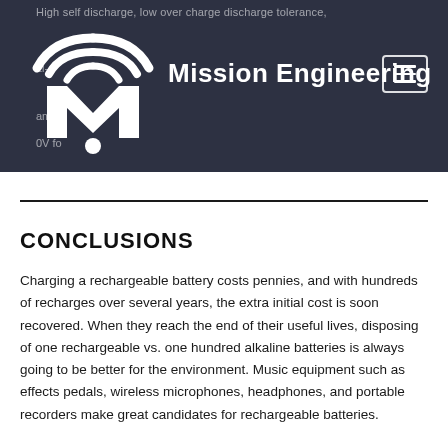Mission Engineering
CONCLUSIONS
Charging a rechargeable battery costs pennies, and with hundreds of recharges over several years, the extra initial cost is soon recovered. When they reach the end of their useful lives, disposing of one rechargeable vs. one hundred alkaline batteries is always going to be better for the environment. Music equipment such as effects pedals, wireless microphones, headphones, and portable recorders make great candidates for rechargeable batteries.